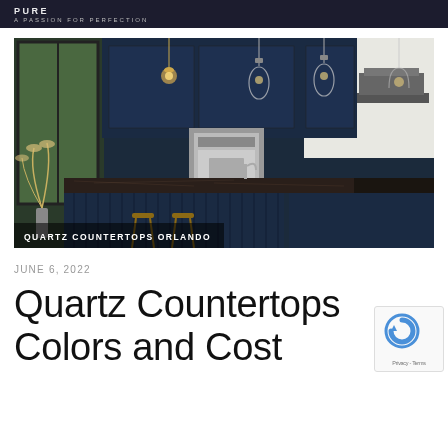A PASSION FOR PERFECTION
[Figure (photo): Luxury kitchen with dark navy blue cabinets, marble countertop island, pendant lights, and bar stools. Overlay text reads QUARTZ COUNTERTOPS ORLANDO.]
JUNE 6, 2022
Quartz Countertops Colors and Cost